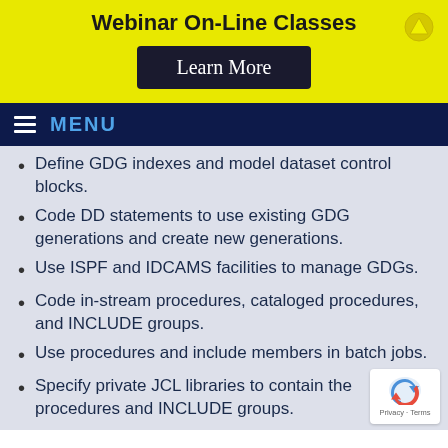Webinar On-Line Classes
Learn More
MENU
Define GDG indexes and model dataset control blocks.
Code DD statements to use existing GDG generations and create new generations.
Use ISPF and IDCAMS facilities to manage GDGs.
Code in-stream procedures, cataloged procedures, and INCLUDE groups.
Use procedures and include members in batch jobs.
Specify private JCL libraries to contain the procedures and INCLUDE groups.